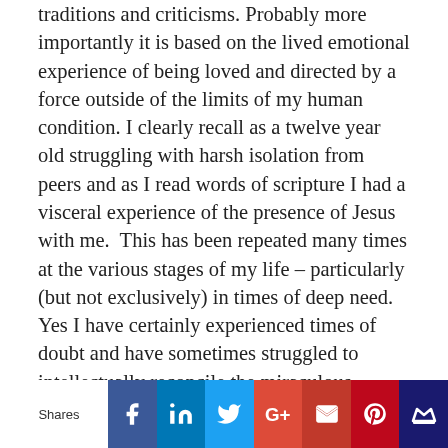traditions and criticisms. Probably more importantly it is based on the lived emotional experience of being loved and directed by a force outside of the limits of my human condition. I clearly recall as a twelve year old struggling with harsh isolation from peers and as I read words of scripture I had a visceral experience of the presence of Jesus with me. This has been repeated many times at the various stages of my life – particularly (but not exclusively) in times of deep need. Yes I have certainly experienced times of doubt and have sometimes struggled to intellectually reconcile the miraculous claims of the Bible documents
[Figure (infographic): Social sharing bar with icons for Facebook, LinkedIn, Twitter, Google+, Gmail, Pinterest, and another platform. A 'Shares' label appears to the left.]